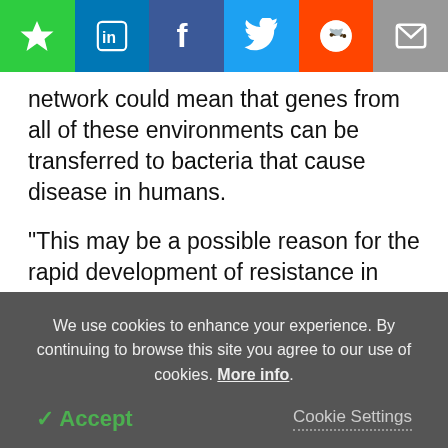[Figure (screenshot): Social media sharing bar with icons: bookmark (green), LinkedIn (blue), Facebook (dark blue), Twitter (light blue), Reddit (orange), Email (grey)]
network could mean that genes from all of these environments can be transferred to bacteria that cause disease in humans.
"This may be a possible reason for the rapid development of resistance in human pathogens that we have observed in recent years. Our extensive use of antibiotics selects for resistance genes, which could thus flow in from a much larger naturally occurring
We use cookies to enhance your experience. By continuing to browse this site you agree to our use of cookies. More info.
✔ Accept
Cookie Settings